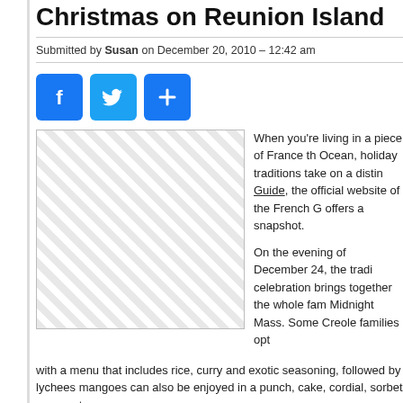Christmas on Reunion Island
Submitted by Susan on December 20, 2010 – 12:42 am
[Figure (other): Social sharing buttons: Facebook, Twitter, Share]
[Figure (photo): Image placeholder with diagonal hatching pattern]
When you're living in a piece of France th Ocean, holiday traditions take on a distin Guide, the official website of the French G offers a snapshot.

On the evening of December 24, the tradi celebration brings together the whole fam Midnight Mass. Some Creole families opt with a menu that includes rice, curry and exotic seasoning, followed by lychees mangoes can also be enjoyed in a punch, cake, cordial, sorbet or yogurt.
Christmas Eve supper
A delicious Réunion aperitif such as the island's white rum, "rhum arrangé", or a ingredients (rum, vanilla, fruit, sugar cane) get proceedings under way, accompa (a type of spicy pea fritter) and samosas, not forgetting, of course, the famous "b or fish balls dipped in red pepper paste and "sciave").